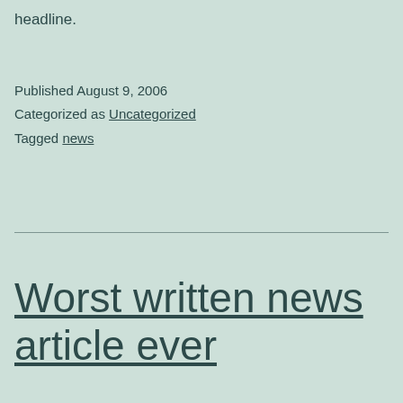headline.
Published August 9, 2006
Categorized as Uncategorized
Tagged news
Worst written news article ever